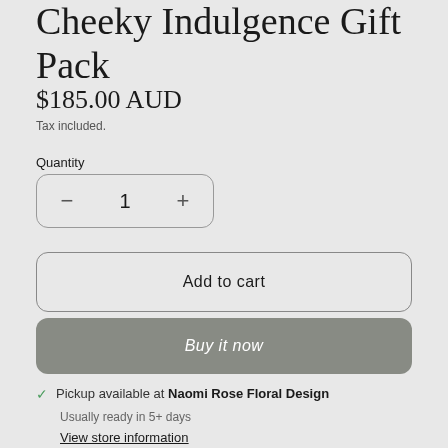Cheeky Indulgence Gift Pack
$185.00 AUD
Tax included.
Quantity
− 1 +
Add to cart
Buy it now
✓ Pickup available at Naomi Rose Floral Design
Usually ready in 5+ days
View store information